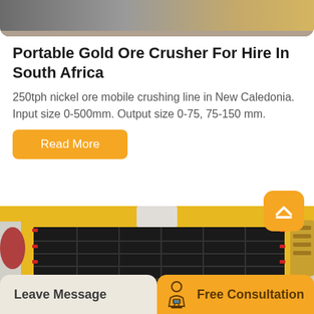[Figure (photo): Top partial photo of industrial machinery with grey and yellow-brown tones, rounded bottom corners]
Portable Gold Ore Crusher For Hire In South Africa
250tph nickel ore mobile crushing line in New Caledonia. Input size 0-500mm. Output size 0-75, 75-150 mm.
Read More
[Figure (photo): Industrial gold ore crushing machine with yellow frame and black grid/tray sections, photographed from above-front angle in a facility]
Leave Message
Free Consultation